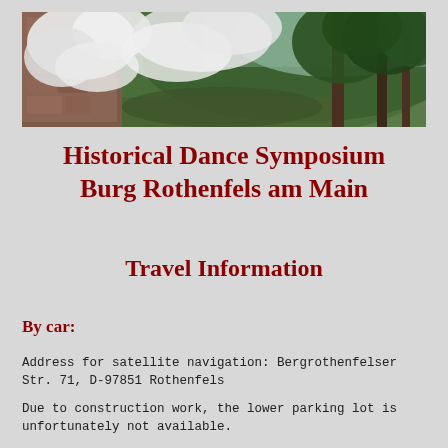[Figure (photo): Landscape photograph showing ancient stone ruins on the left covered with flowering white-blossomed trees, with a forested hillside in the background. Spring scenery at Burg Rothenfels.]
Historical Dance Symposium Burg Rothenfels am Main
Travel Information
By car:
Address for satellite navigation: Bergrothenfelser Str. 71, D-97851 Rothenfels
Due to construction work, the lower parking lot is unfortunately not available.